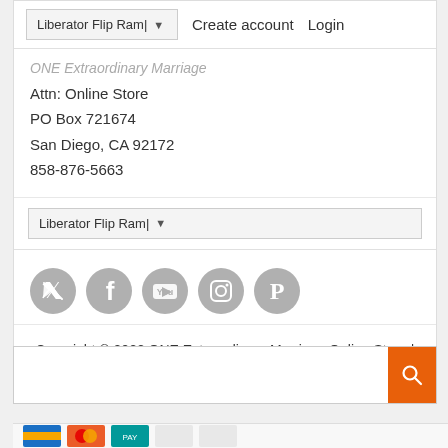Liberator Flip Ram| ▼   Create account   Login
ONE Extraordinary Marriage
Attn: Online Store
PO Box 721674
San Diego, CA 92172
858-876-5663
Liberator Flip Ram| ▼
[Figure (infographic): Five gray social media icon circles: Twitter, Facebook, YouTube, Instagram, Pinterest]
Copyright © 2022 ONE Extraordinary Marriage Online Store | POS and Ecommerce by Shopify
Search input box with orange search button
[Figure (infographic): Row of payment card icons at bottom]